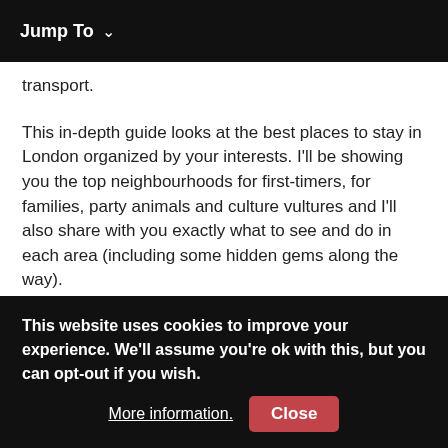Jump To ∨
transport.
This in-depth guide looks at the best places to stay in London organized by your interests. I'll be showing you the top neighbourhoods for first-timers, for families, party animals and culture vultures and I'll also share with you exactly what to see and do in each area (including some hidden gems along the way).
So, no matter what you're into, I've got you covered.
This website uses cookies to improve your experience. We'll assume you're ok with this, but you can opt-out if you wish. More information. Close